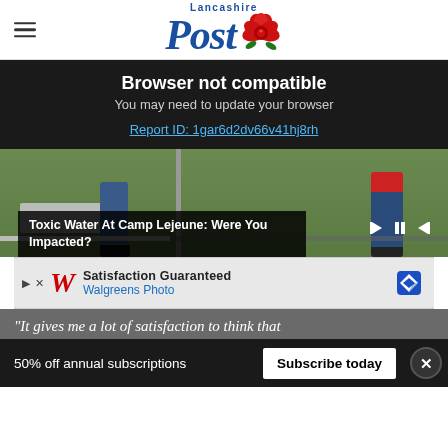Lancashire Post
Browser not compatible
You may need to update your browser
Report ID: 1gar6d2dv66v41hj8rh
[Figure (photo): Two people standing on a grassy area near a sidewalk and a pole, lower halves visible; one in black shoes and jeans, one in red top and jeans. Video player controls visible.]
Toxic Water At Camp Lejeune: Were You Impacted?
[Figure (screenshot): Walgreens Photo advertisement banner: Satisfaction Guaranteed, Walgreens Photo, with diamond navigation icon.]
"It gives me a lot of satisfaction to think that
50% off annual subscriptions
Subscribe today